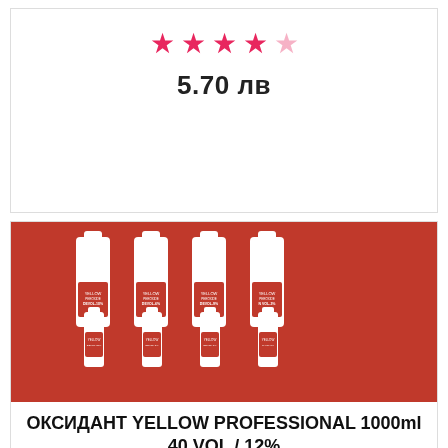[Figure (other): Star rating: 4 out of 5 stars (filled pink stars, one empty)]
5.70 лв
[Figure (photo): Multiple Yellow Professional hair oxidant bottles (large 1000ml and small sizes) with red and white labels showing different volumes]
ОКСИДАНТ YELLOW PROFESSIONAL 1000ml 40 VOL / 12%
[Figure (other): Star rating: 5 out of 5 stars (all filled pink stars)]
15.00 лв